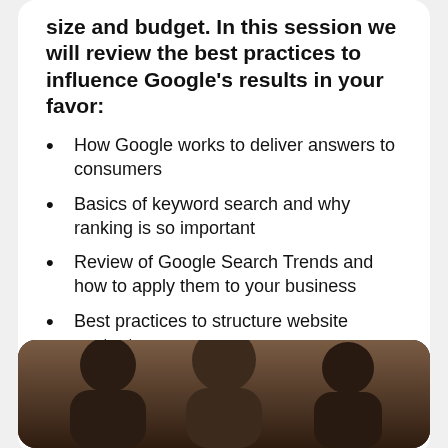size and budget. In this session we will review the best practices to influence Google's results in your favor:
How Google works to deliver answers to consumers
Basics of keyword search and why ranking is so important
Review of Google Search Trends and how to apply them to your business
Best practices to structure website content
Real-life example of how SEO best practices can be applied
[Figure (photo): Photo showing people in a meeting or group discussion, partially visible at the bottom of the page]